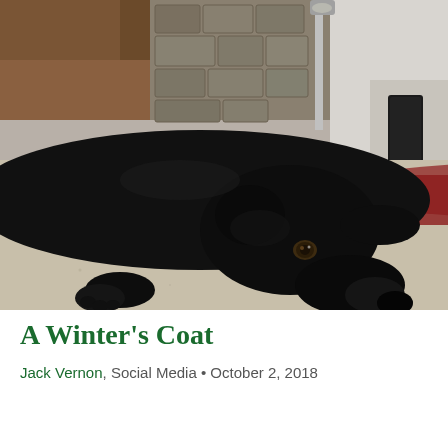[Figure (photo): A black Labrador dog lying on a beige carpet, resting its head down, looking toward the camera. In the background there is a stone fireplace, a dark electronic device, and a red storage box.]
A Winter's Coat
Jack Vernon, Social Media • October 2, 2018